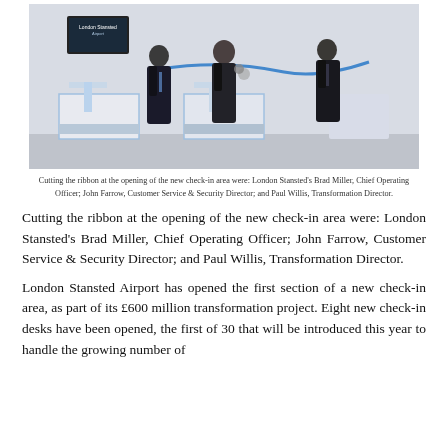[Figure (photo): Three men in dark suits standing in a modern airport check-in hall, cutting a blue ribbon. A London Stansted Airport sign is visible on a screen in the background.]
Cutting the ribbon at the opening of the new check-in area were: London Stansted's Brad Miller, Chief Operating Officer; John Farrow, Customer Service & Security Director; and Paul Willis, Transformation Director.
Cutting the ribbon at the opening of the new check-in area were: London Stansted's Brad Miller, Chief Operating Officer; John Farrow, Customer Service & Security Director; and Paul Willis, Transformation Director.
London Stansted Airport has opened the first section of a new check-in area, as part of its £600 million transformation project. Eight new check-in desks have been opened, the first of 30 that will be introduced this year to handle the growing number of